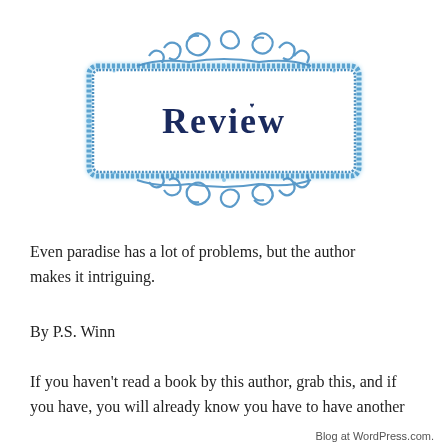[Figure (illustration): Decorative blue glitter ornate frame with scrollwork flourishes at top and bottom, containing the word 'Review' in dark navy serif font]
Even paradise has a lot of problems, but the author makes it intriguing.
By P.S. Winn
If you haven't read a book by this author, grab this, and if you have, you will already know you have to have another
Blog at WordPress.com.